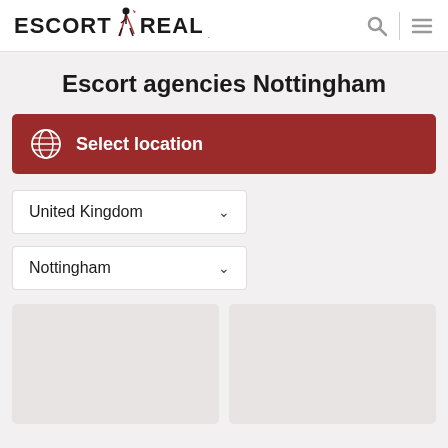ESCORT REAL
Escort agencies Nottingham
Select location
United Kingdom
Nottingham
[Figure (other): Two blank placeholder card images side by side]